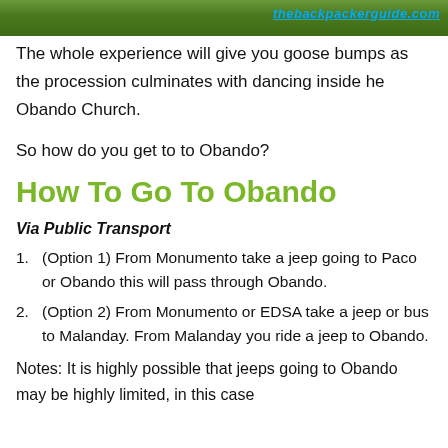[Figure (photo): Banner image with flowers and greenery background, with thebackpackerguide.com watermark text in blue]
The whole experience will give you goose bumps as the procession culminates with dancing inside he Obando Church.
So how do you get to to Obando?
How To Go To Obando
Via Public Transport
(Option 1) From Monumento take a jeep going to Paco or Obando this will pass through Obando.
(Option 2) From Monumento or EDSA take a jeep or bus to Malanday. From Malanday you ride a jeep to Obando.
Notes: It is highly possible that jeeps going to Obando may be highly limited, in this case